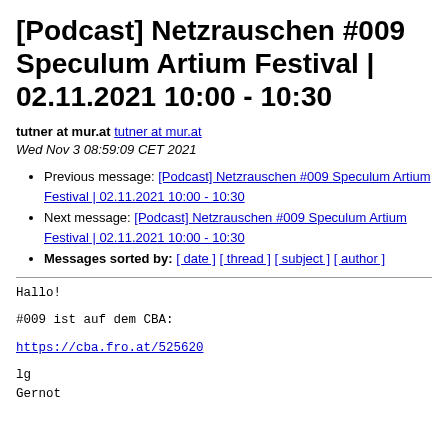[Podcast] Netzrauschen #009 Speculum Artium Festival | 02.11.2021 10:00 - 10:30
tutner at mur.at tutner at mur.at
Wed Nov 3 08:59:09 CET 2021
Previous message: [Podcast] Netzrauschen #009 Speculum Artium Festival | 02.11.2021 10:00 - 10:30
Next message: [Podcast] Netzrauschen #009 Speculum Artium Festival | 02.11.2021 10:00 - 10:30
Messages sorted by: [ date ] [ thread ] [ subject ] [ author ]
Hallo!

#009 ist auf dem CBA:

https://cba.fro.at/525620

lg
Gernot